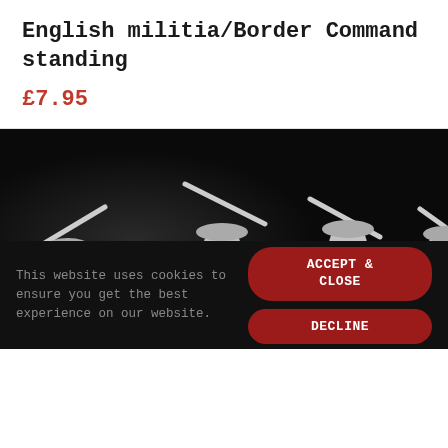English militia/Border Command standing
£7.95
[Figure (photo): Photo of grey metal miniature figurines of English militia/Border Command soldiers standing, holding muskets, against a dark background]
This website uses cookies to ensure you get the best experience on our website.
ACCEPT & CLOSE
DECLINE